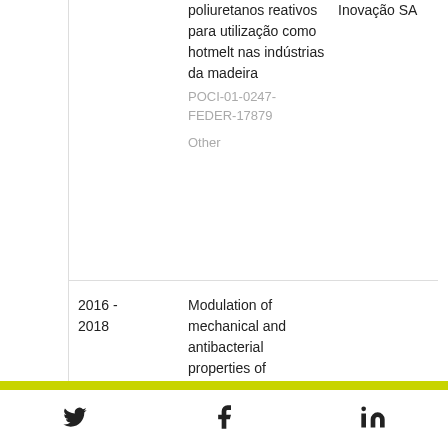poliuretanos reativos para utilização como hotmelt nas indústrias da madeira
POCI-01-0247-FEDER-17879
Other
Inovação SA
2016 - 2018
Modulation of mechanical and antibacterial properties of biofoams derived from polyurethane and turmaline nanoparticles for
[Twitter icon] [Facebook icon] [LinkedIn icon]